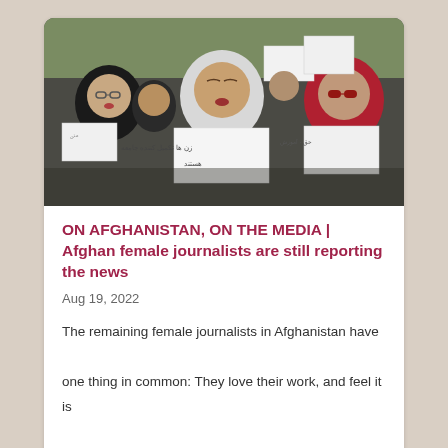[Figure (photo): Afghan women protesters holding white signs with Dari/Persian script text, wearing headscarves (green, white, red/dark), outdoors with trees visible in background.]
ON AFGHANISTAN, ON THE MEDIA | Afghan female journalists are still reporting the news
Aug 19, 2022
The remaining female journalists in Afghanistan have one thing in common: They love their work, and feel it is more vital than ever.